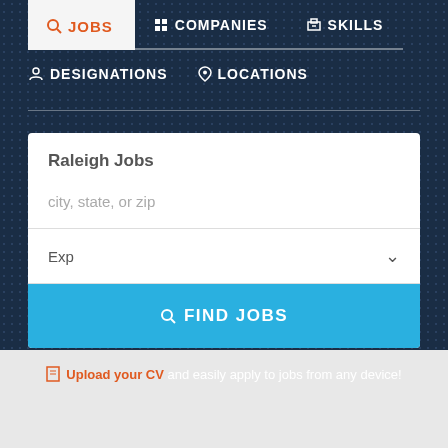[Figure (screenshot): Job search website navigation with JOBS, COMPANIES, SKILLS tabs and DESIGNATIONS, LOCATIONS second row. Below is a search card with title 'Raleigh Jobs', city/state/zip input, experience dropdown, and a blue FIND JOBS button. An Upload your CV CTA appears below.]